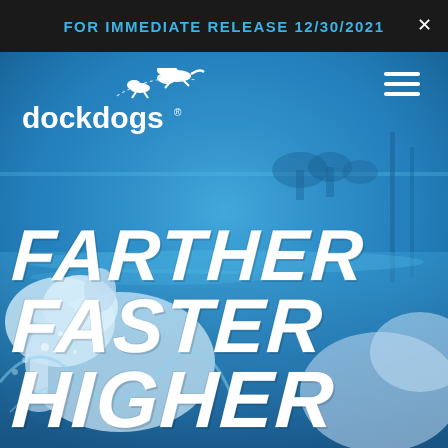FOR IMMEDIATE RELEASE 12/30/2021
[Figure (logo): DockDogs logo with white dog silhouettes jumping, text 'dockdogs' in white]
[Figure (photo): Blue-tinted photo of a dog mid-jump over water, outdoor dock setting, with large white brush-lettered text FARTHER FASTER HIGHER overlaid]
FARTHER FASTER HIGHER